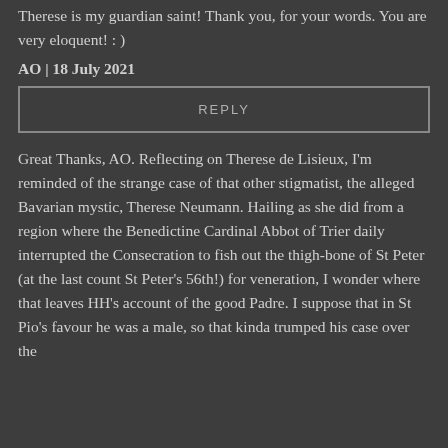Therese is my guardian saint! Thank you, for your words. You are very eloquent! : )
AO | 18 July 2021
REPLY
Great Thanks, AO. Reflecting on Therese de Lisieux, I'm reminded of the strange case of that other stigmatist, the alleged Bavarian mystic, Therese Neumann. Hailing as she did from a region where the Benedictine Cardinal Abbot of Trier daily interrupted the Consecration to fish out the thigh-bone of St Peter (at the last count St Peter's 56th!) for veneration, I wonder where that leaves HH's account of the good Padre. I suppose that in St Pio's favour he was a male, so that kinda trumped his case over the